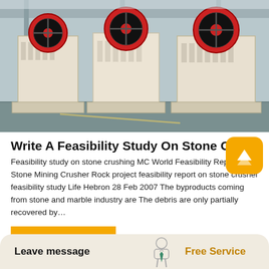[Figure (photo): Industrial stone crushing machinery in a factory setting — large jaw crushers with red and black flywheels on a factory floor]
Write A Feasibility Study On Stone Crushing Business
Feasibility study on stone crushing MC World Feasibility Report On Stone Mining Crusher Rock project feasibility report on stone crusher feasibility study Life Hebron 28 Feb 2007 The byproducts coming from stone and marble industry are The debris are only partially recovered by…
READ MORE
Leave message
[Figure (illustration): Small icon of a person/service representative]
Free Service